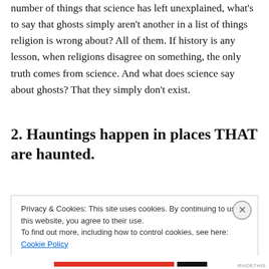While each religion might stake its claim to the decreasing number of things that science has left unexplained, what's to say that ghosts simply aren't another in a list of things religion is wrong about? All of them. If history is any lesson, when religions disagree on something, the only truth comes from science. And what does science say about ghosts? That they simply don't exist.
2. Hauntings happen in places THAT are haunted.
Privacy & Cookies: This site uses cookies. By continuing to use this website, you agree to their use.
To find out more, including how to control cookies, see here: Cookie Policy